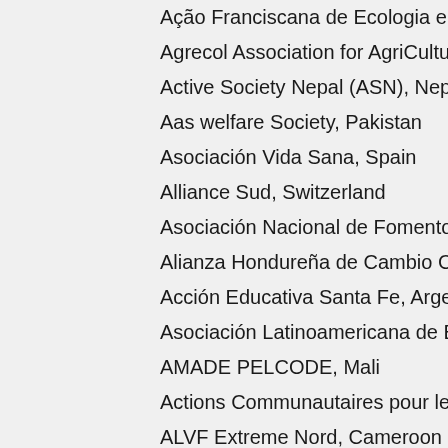Ação Franciscana de Ecologia e Solidariedade –
Agrecol Association for AgriCulture & Ecology, G
Active Society Nepal (ASN), Nepal
Aas welfare Society, Pakistan
Asociación Vida Sana, Spain
Alliance Sud, Switzerland
Asociación Nacional de Fomento a la Agricultura
Alianza Hondureña de Cambio Climático – AHCC,
Acción Educativa Santa Fe, Argentina
Asociación Latinoamericana de Educación Radio
AMADE PELCODE, Mali
Actions Communautaires pour le Développement
ALVF Extreme Nord, Cameroon
Alternatives Durables pour le Développement, Ca
Association Congolaise pour le Développement A
ANAND SEEDS, Colombia
ACTUAR - Association for Cooperation and Devel